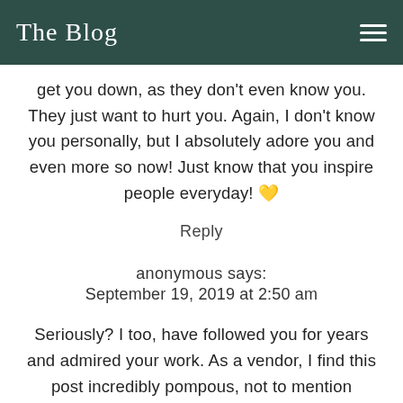The Blog
get you down, as they don't even know you. They just want to hurt you. Again, I don't know you personally, but I absolutely adore you and even more so now! Just know that you inspire people everyday! 💛
Reply
anonymous says:
September 19, 2019 at 2:50 am
Seriously? I too, have followed you for years and admired your work. As a vendor, I find this post incredibly pompous, not to mention inaccurate. You do this a